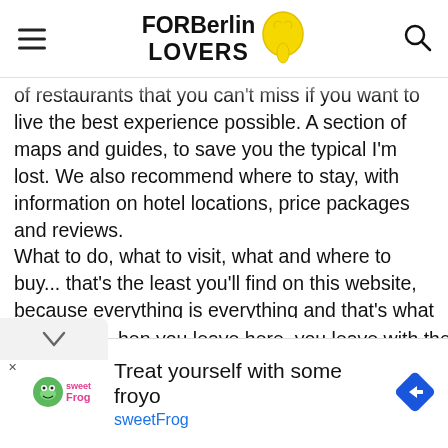FOR Berlin LOVERS
of restaurants that you can't miss if you want to live the best experience possible. A section of maps and guides, to save you the typical I'm lost. We also recommend where to stay, with information on hotel locations, price packages and reviews.
What to do, what to visit, what and where to buy... that's the least you'll find on this website, because everything is everything and that's what we're going to offer you. In For Berlin Lovers, we have created this website as complete as possible to enrich your experience in the capital and hen you leave here, you leave with the best possible
[Figure (infographic): Advertisement banner for sweetFrog frozen yogurt with logo, text 'Treat yourself with some froyo', 'sweetFrog' subtitle in teal, and a blue diamond navigation icon on the right.]